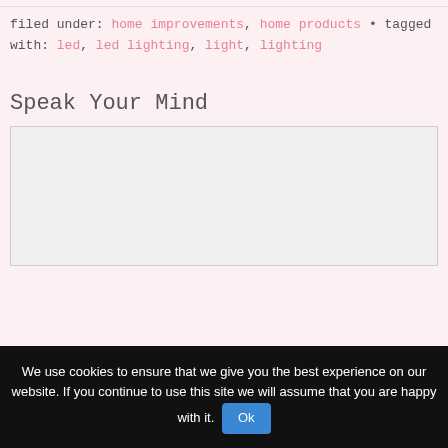filed under: home improvements, home products • tagged with: led, led lighting, light, lighting
Speak Your Mind
We use cookies to ensure that we give you the best experience on our website. If you continue to use this site we will assume that you are happy with it. Ok